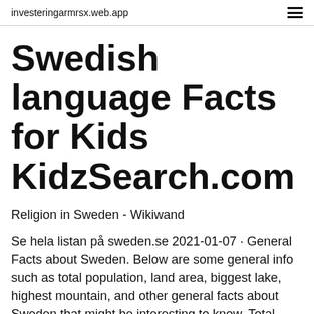investeringarmrsx.web.app
Swedish language Facts for Kids KidzSearch.com
Religion in Sweden - Wikiwand
Se hela listan på sweden.se 2021-01-07 · General Facts about Sweden. Below are some general info such as total population, land area, biggest lake, highest mountain, and other general facts about Sweden that might be interesting to know. Total